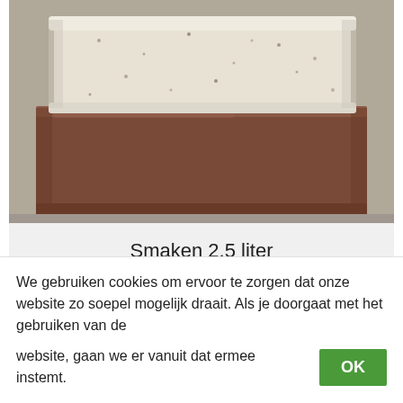[Figure (photo): Photo of ice cream containers stacked: a white/cream colored container on top with speckled pattern, and a brown chocolate-colored container below, photographed in what appears to be a kitchen or store setting.]
Smaken 2.5 liter
€20,00
We gebruiken cookies om ervoor te zorgen dat onze website zo soepel mogelijk draait. Als je doorgaat met het gebruiken van de website, gaan we er vanuit dat ermee instemt.